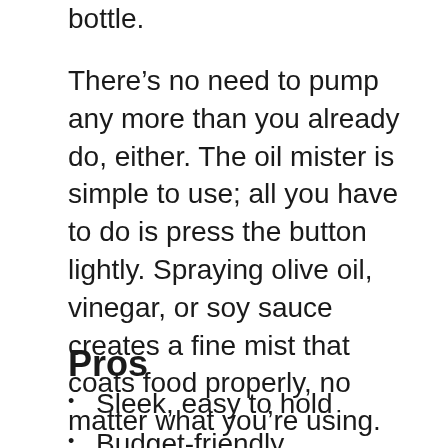bottle.
There’s no need to pump any more than you already do, either. The oil mister is simple to use; all you have to do is press the button lightly. Spraying olive oil, vinegar, or soy sauce creates a fine mist that coats food properly, no matter what you’re using. The sprayer also comes with two cleaning brushes (one small and one large), as well as an extra tubing, to increase the item’s usable life.
Pros
Sleek, easy to hold
Budget-friendly
Comes with cleaning brushes